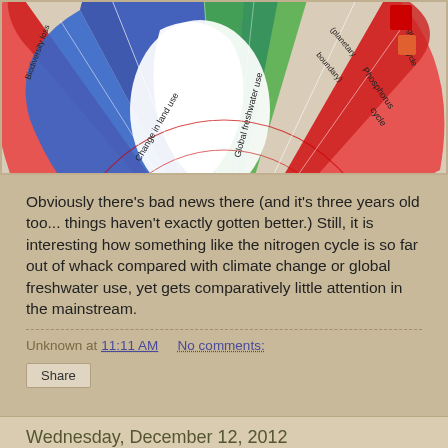[Figure (infographic): Partial view of a circular planetary boundaries radar/polar chart showing sectors including 'Change in land use', 'Global freshwater use', 'Phosphorus cycle', and other segments. Color-coded regions in red, blue, green indicating boundary exceedance. White globe shape in center.]
Obviously there's bad news there (and it's three years old too... things haven't exactly gotten better.) Still, it is interesting how something like the nitrogen cycle is so far out of whack compared with climate change or global freshwater use, yet gets comparatively little attention in the mainstream.
Unknown at 11:11 AM   No comments:
Wednesday, December 12, 2012